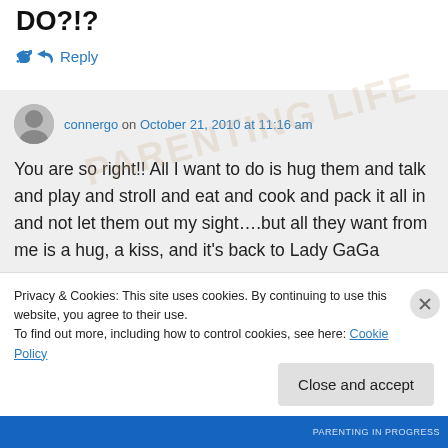DO?!?
↪ Reply
connergo on October 21, 2010 at 11:16 am
You are so right!! All I want to do is hug them and talk and play and stroll and eat and cook and pack it all in and not let them out my sight….but all they want from me is a hug, a kiss, and it's back to Lady GaGa
Privacy & Cookies: This site uses cookies. By continuing to use this website, you agree to their use.
To find out more, including how to control cookies, see here: Cookie Policy